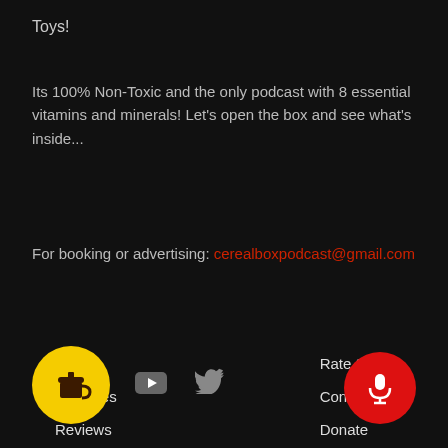Toys!
Its 100% Non-Toxic and the only podcast with 8 essential vitamins and minerals! Let's open the box and see what's inside...
For booking or advertising: cerealboxpodcast@gmail.com
About
Episodes
Reviews
Store
Rate Show
Contact
Donate
[Figure (illustration): Yellow circle button with coffee cup icon (Buy Me a Coffee), YouTube icon, Twitter bird icon, and red circle button with microphone icon]